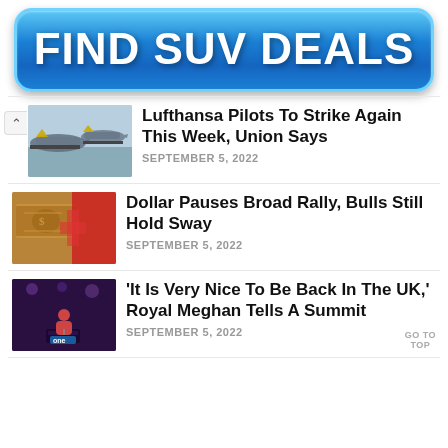[Figure (other): Blue gradient rounded button advertisement banner with text FIND SUV DEALS in bold white capital letters]
Lufthansa Pilots To Strike Again This Week, Union Says — SEPTEMBER 5, 2022
Dollar Pauses Broad Rally, Bulls Still Hold Sway — SEPTEMBER 5, 2022
'It Is Very Nice To Be Back In The UK,' Royal Meghan Tells A Summit — SEPTEMBER 5, 2022